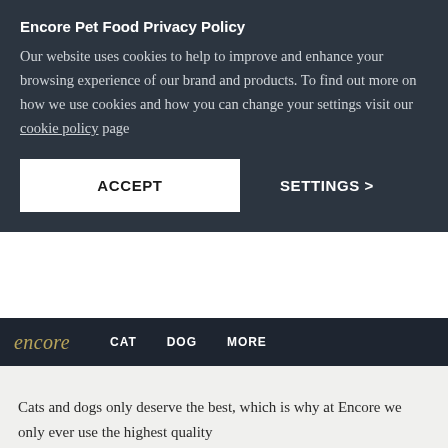Encore Pet Food Privacy Policy
Our website uses cookies to help to improve and enhance your browsing experience of our brand and products. To find out more on how we use cookies and how you can change your settings visit our cookie policy page
encore  CAT  DOG  MORE
Cats and dogs only deserve the best, which is why at Encore we only ever use the highest quality